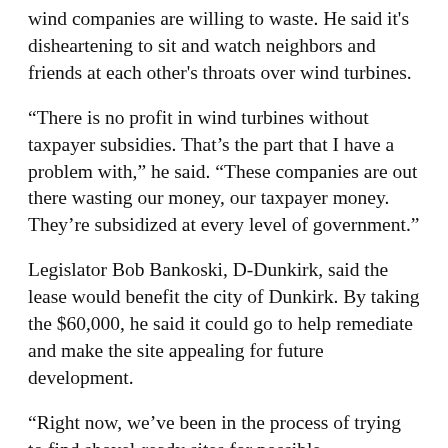wind companies are willing to waste. He said it's disheartening to sit and watch neighbors and friends at each other's throats over wind turbines.
“There is no profit in wind turbines without taxpayer subsidies. That’s the part that I have a problem with,” he said. “These companies are out there wasting our money, our taxpayer money. They’re subsidized at every level of government.”
Legislator Bob Bankoski, D-Dunkirk, said the lease would benefit the city of Dunkirk. By taking the $60,000, he said it could go to help remediate and make the site appealing for future development.
“Right now, we’ve been in the process of trying to find shovel-ready sites for possible development and expansion with the Athenex project coming on board,” he said. “We have a cold storage warehouse we’ve been having a hard time finding a place for that to go. A lot of people said why don’t you put it at the (South Roberts) site. The problem is it’s not shovel ready.”